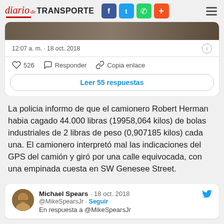diario de TRANSPORTE
12:07 a. m. · 18 oct. 2018
526  Responder  Copia enlace
Leer 55 respuestas
La policia informo de que el camionero Robert Herman habia cagado 44.000 libras (19958,064 kilos) de bolas industriales de 2 libras de peso (0,907185 kilos) cada una. El camionero interpretó mal las indicaciones del GPS del camión y giró por una calle equivocada, con una empinada cuesta en SW Genesee Street.
Michael Spears · 18 oct. 2018
@MikeSpearsJr · Seguir
En respuesta a @MikeSpearsJr